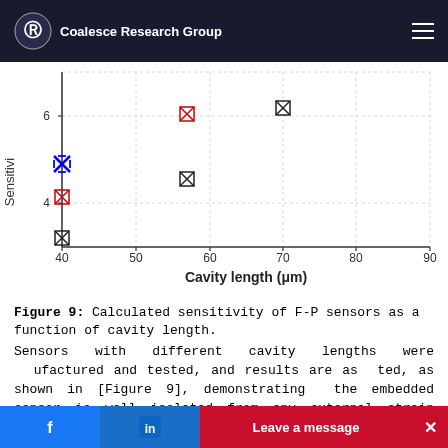Coalesce Research Group
[Figure (scatter-plot): Sensitivity vs Cavity length]
Figure 9: Calculated sensitivity of F-P sensors as a function of cavity length.
Sensors with different cavity lengths were manufactured and tested, and results are as ted, as shown in [Figure 9], demonstrating the embedded sensor is well isolated from any external strain influences. The increase in sensitivity with temperature is due to the nonlinearity of the thermo-optic coefficient of
Leave a message